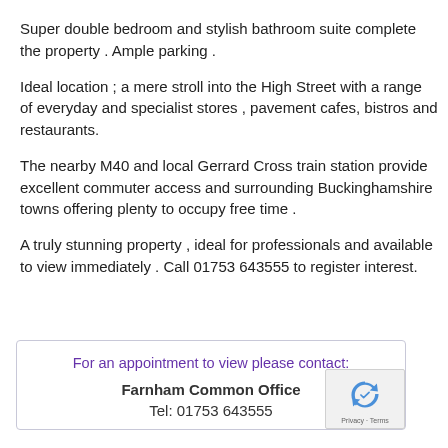Super double bedroom and stylish bathroom suite complete the property . Ample parking .
Ideal location ; a mere stroll into the High Street with a range of everyday and specialist stores , pavement cafes, bistros and restaurants.
The nearby M40 and local Gerrard Cross train station provide excellent commuter access and surrounding Buckinghamshire towns offering plenty to occupy free time .
A truly stunning property , ideal for professionals and available to view immediately . Call 01753 643555 to register interest.
For an appointment to view please contact: Farnham Common Office Tel: 01753 643555